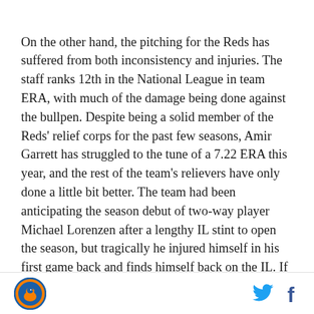On the other hand, the pitching for the Reds has suffered from both inconsistency and injuries. The staff ranks 12th in the National League in team ERA, with much of the damage being done against the bullpen. Despite being a solid member of the Reds' relief corps for the past few seasons, Amir Garrett has struggled to the tune of a 7.22 ERA this year, and the rest of the team's relievers have only done a little bit better. The team had been anticipating the season debut of two-way player Michael Lorenzen after a lengthy IL stint to open the season, but tragically he injured himself in his first game back and finds himself back on the IL. If the Mets are wise, they'll try to burn through the Reds' starters as quickly as possible and do some damage
[Logo] [Twitter icon] [Facebook icon]